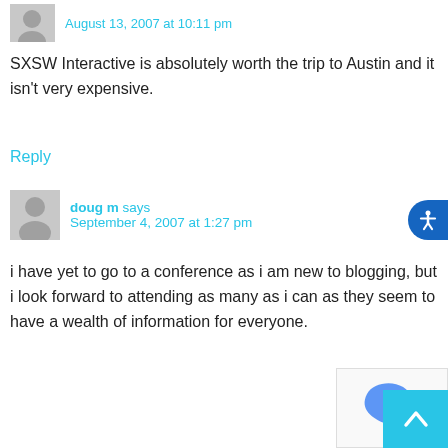August 13, 2007 at 10:11 pm
SXSW Interactive is absolutely worth the trip to Austin and it isn't very expensive.
Reply
doug m says September 4, 2007 at 1:27 pm
i have yet to go to a conference as i am new to blogging, but i look forward to attending as many as i can as they seem to have a wealth of information for everyone.